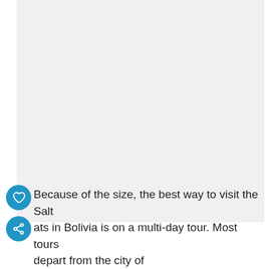[Figure (photo): Large white/light grey blank image area occupying top portion of page]
Because of the size, the best way to visit the Salt ats in Bolivia is on a multi-day tour. Most tours depart from the city of La Paz, and tour around the